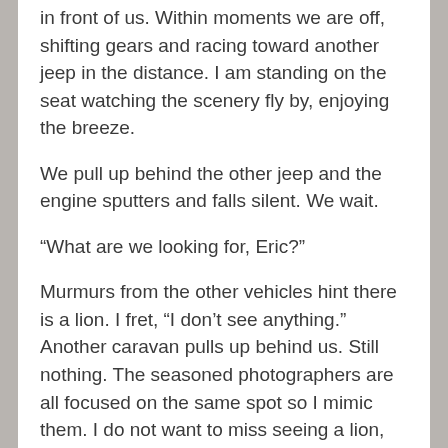in front of us.  Within moments we are off, shifting gears and racing toward another jeep in the distance. I am standing on the seat watching the scenery fly by, enjoying the breeze.
We pull up behind the other jeep and the engine sputters and falls silent.  We wait.
“What are we looking for, Eric?”
Murmurs from the other vehicles hint there is a lion. I fret, “I don’t see anything.” Another caravan pulls up behind us. Still nothing.  The seasoned photographers are all focused on the same spot so I mimic them. I do not want to miss seeing a lion, not trusting my own eyes after the trouble I had spotting the leopard on the rocks in Samburu.
Without warning a massive male lion slips from the grass and counters right in front of me. There was